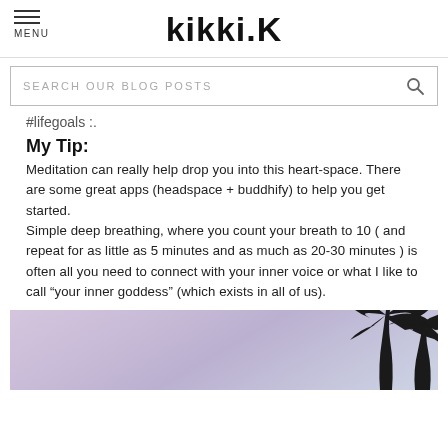kikki.K
SEARCH OUR BLOG POSTS
#lifegoals :.
My Tip:
Meditation can really help drop you into this heart-space. There are some great apps (headspace + buddhify) to help you get started.
Simple deep breathing, where you count your breath to 10 ( and repeat for as little as 5 minutes and as much as 20-30 minutes ) is often all you need to connect with your inner voice or what I like to call “your inner goddess” (which exists in all of us).
[Figure (photo): Tropical palm tree silhouette against a soft purple-pink sky at dusk]